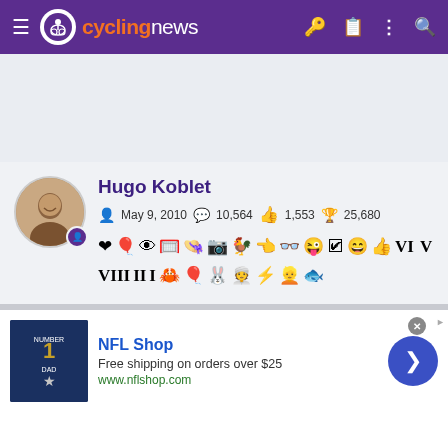cyclingnews
[Figure (other): Gray ad placeholder area]
Hugo Koblet
May 9, 2010  10,564  1,553  25,680
[Figure (other): NFL Shop advertisement banner with jersey image, text: NFL Shop, Free shipping on orders over $25, www.nflshop.com]